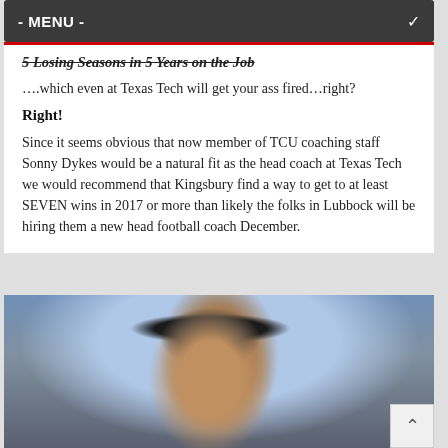- MENU -
5 Losing Seasons in 5 Years on the Job
….which even at Texas Tech will get your ass fired…right?
Right!
Since it seems obvious that now member of TCU coaching staff Sonny Dykes would be a natural fit as the head coach at Texas Tech we would recommend that Kingsbury find a way to get to at least SEVEN wins in 2017 or more than likely the folks in Lubbock will be hiring them a new head football coach December.
[Figure (photo): Photo of a football coach wearing a headset and dark cap with a logo, standing on the sideline]